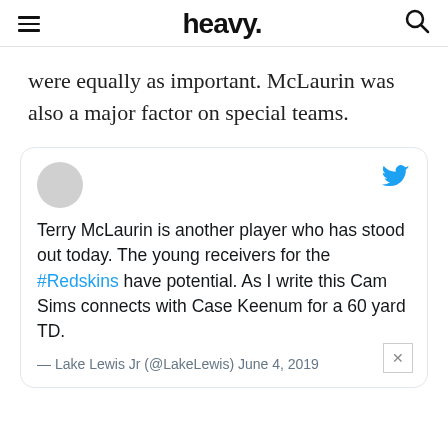heavy.
were equally as important. McLaurin was also a major factor on special teams.
[Figure (screenshot): Embedded tweet from Lake Lewis Jr (@LakeLewis) dated June 4, 2019: 'Terry McLaurin is another player who has stood out today. The young receivers for the #Redskins have potential. As I write this Cam Sims connects with Case Keenum for a 60 yard TD.']